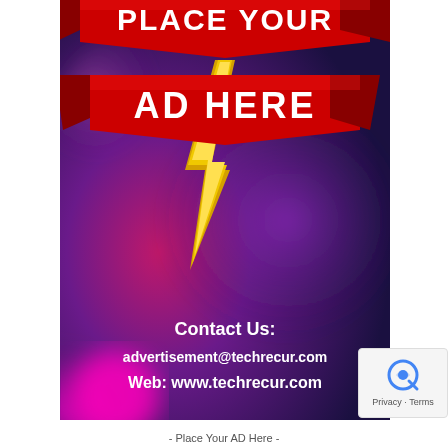[Figure (illustration): Advertisement placeholder image with dark purple/magenta bokeh background, red ribbon banners at top reading 'PLACE YOUR AD HERE' in white bold text with a gold lightning bolt shape below the banners. Bottom section shows white text: 'Contact Us: advertisement@techrecur.com Web: www.techrecur.com']
- Place Your AD Here -